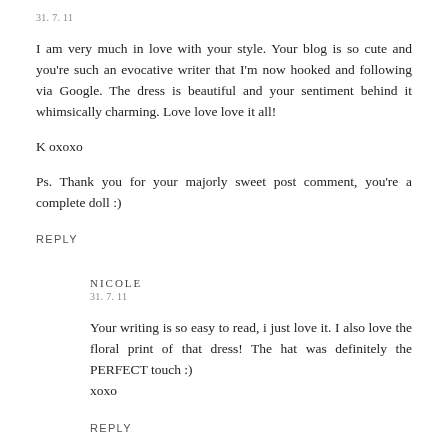31. 7. 11
I am very much in love with your style. Your blog is so cute and you're such an evocative writer that I'm now hooked and following via Google. The dress is beautiful and your sentiment behind it whimsically charming. Love love love it all!
K oxoxo
Ps. Thank you for your majorly sweet post comment, you're a complete doll :)
REPLY
NICOLE
31. 7. 11
Your writing is so easy to read, i just love it. I also love the floral print of that dress! The hat was definitely the PERFECT touch :) xoxo
REPLY
TRIVIA